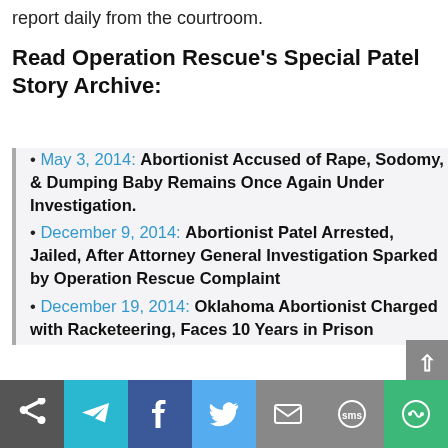report daily from the courtroom.
Read Operation Rescue's Special Patel Story Archive:
May 3, 2014: Abortionist Accused of Rape, Sodomy, & Dumping Baby Remains Once Again Under Investigation.
December 9, 2014: Abortionist Patel Arrested, Jailed, After Attorney General Investigation Sparked by Operation Rescue Complaint
December 19, 2014: Oklahoma Abortionist Charged with Racketeering, Faces 10 Years in Prison